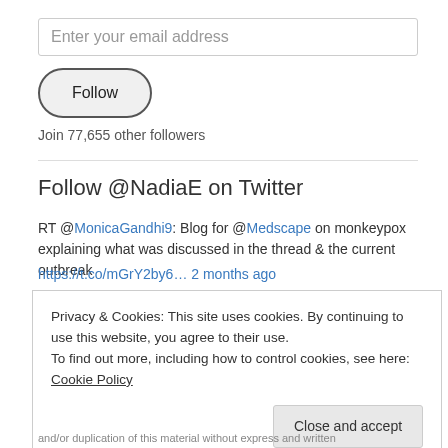Enter your email address
Follow
Join 77,655 other followers
Follow @NadiaE on Twitter
RT @MonicaGandhi9: Blog for @Medscape on monkeypox explaining what was discussed in the thread & the current outbreak https://t.co/mGrY2by6… 2 months ago
Privacy & Cookies: This site uses cookies. By continuing to use this website, you agree to their use.
To find out more, including how to control cookies, see here: Cookie Policy
Close and accept
and/or duplication of this material without express and written